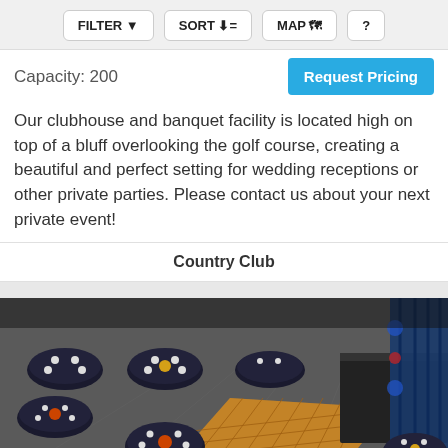FILTER | SORT | MAP | ?
Capacity: 200
Request Pricing
Our clubhouse and banquet facility is located high on top of a bluff overlooking the golf course, creating a beautiful and perfect setting for wedding receptions or other private parties. Please contact us about your next private event!
Country Club
[Figure (photo): Aerial view of a banquet hall set up with round tables covered in dark linens with white place settings, a wooden parquet dance floor in the center, and blue/red curtains along the right wall with stage lighting.]